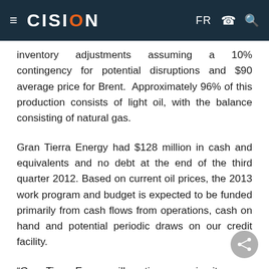≡ CISION FR
inventory adjustments assuming a 10% contingency for potential disruptions and $90 average price for Brent. Approximately 96% of this production consists of light oil, with the balance consisting of natural gas.
Gran Tierra Energy had $128 million in cash and equivalents and no debt at the end of the third quarter 2012. Based on current oil prices, the 2013 work program and budget is expected to be funded primarily from cash flows from operations, cash on hand and potential periodic draws on our credit facility.
"Gran Tierra Energy will continue pursuing its...